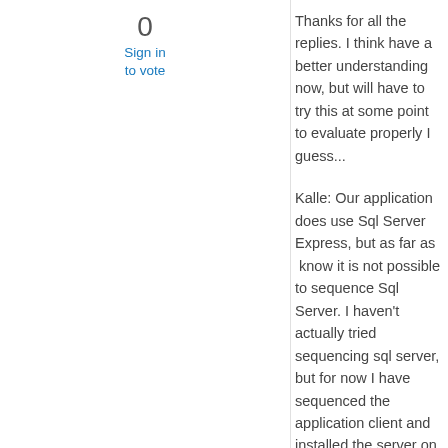0
Sign in to vote
Thanks for all the replies. I think have a better understanding now, but will have to try this at some point to evaluate properly I guess...
Kalle: Our application does use Sql Server Express, but as far as  know it is not possible to sequence Sql Server. I haven't actually tried sequencing sql server, but for now I have sequenced the application client and installed the server on a seperate machine for the package to access.. This does make the application very slow.